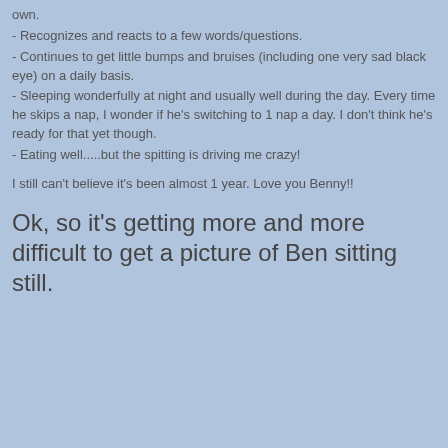own.
- Recognizes and reacts to a few words/questions.
- Continues to get little bumps and bruises (including one very sad black eye) on a daily basis.
- Sleeping wonderfully at night and usually well during the day. Every time he skips a nap, I wonder if he's switching to 1 nap a day. I don't think he's ready for that yet though.
- Eating well.....but the spitting is driving me crazy!
I still can't believe it's been almost 1 year. Love you Benny!!
Ok, so it's getting more and more difficult to get a picture of Ben sitting still.